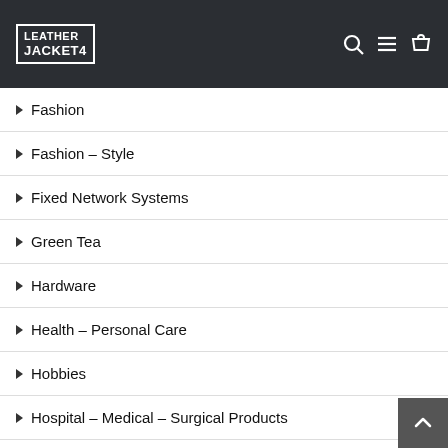Leather Jacket 4 – navigation header with logo and icons
Fashion
Fashion – Style
Fixed Network Systems
Green Tea
Hardware
Health – Personal Care
Hobbies
Hospital – Medical – Surgical Products
Household – Kitchen Appliances
Household Supplies
Internet Communications